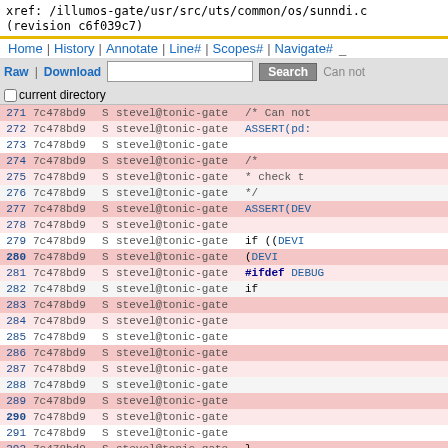xref: /illumos-gate/usr/src/uts/common/os/sunndi.c
(revision c6f039c7)
Home | History | Annotate | Line# | Scopes# | Navigate#
Raw | Download  [Search button]  [current directory checkbox]
| Line | Rev | S | Author | Code |
| --- | --- | --- | --- | --- |
| 271 | 7c478bd9 | S | stevel@tonic-gate | /* Can not |
| 272 | 7c478bd9 | S | stevel@tonic-gate | ASSERT(pd: |
| 273 | 7c478bd9 | S | stevel@tonic-gate |  |
| 274 | 7c478bd9 | S | stevel@tonic-gate | /* |
| 275 | 7c478bd9 | S | stevel@tonic-gate |  * check t |
| 276 | 7c478bd9 | S | stevel@tonic-gate |  */ |
| 277 | 7c478bd9 | S | stevel@tonic-gate | ASSERT(DEV |
| 278 | 7c478bd9 | S | stevel@tonic-gate |  |
| 279 | 7c478bd9 | S | stevel@tonic-gate | if ((DEVI |
| 280 | 7c478bd9 | S | stevel@tonic-gate | (DEVI |
| 281 | 7c478bd9 | S | stevel@tonic-gate | #ifdef DEBUG |
| 282 | 7c478bd9 | S | stevel@tonic-gate | if |
| 283 | 7c478bd9 | S | stevel@tonic-gate |  |
| 284 | 7c478bd9 | S | stevel@tonic-gate |  |
| 285 | 7c478bd9 | S | stevel@tonic-gate |  |
| 286 | 7c478bd9 | S | stevel@tonic-gate |  |
| 287 | 7c478bd9 | S | stevel@tonic-gate |  |
| 288 | 7c478bd9 | S | stevel@tonic-gate |  |
| 289 | 7c478bd9 | S | stevel@tonic-gate |  |
| 290 | 7c478bd9 | S | stevel@tonic-gate |  |
| 291 | 7c478bd9 | S | stevel@tonic-gate |  |
| 292 | 7c478bd9 | S | stevel@tonic-gate | } |
| 293 | 7c478bd9 | S | stevel@tonic-gate | #endif /* DEBUG |
| 294 | 7c478bd9 | S | stevel@tonic-gate |  |